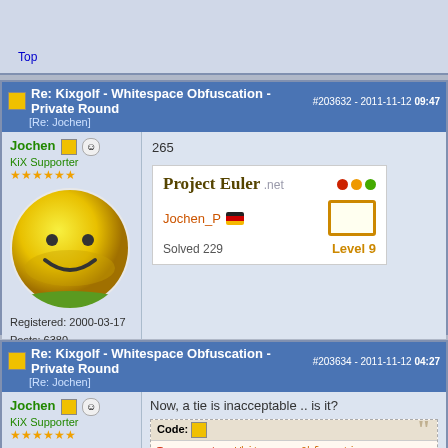Top
Re: Kixgolf - Whitespace Obfuscation - Private Round [Re: Jochen] #203632 - 2011-11-12 09:47
Jochen KiX Supporter ★★★★★★
[Figure (photo): Yellow smiley face golf ball avatar]
Registered: 2000-03-17
Posts: 6380
Loc: Stuttgart, Germany
265
[Figure (screenshot): Project Euler badge showing Jochen_P, Germany flag, Solved 229, Level 9]
Top
Re: Kixgolf - Whitespace Obfuscation - Private Round [Re: Jochen] #203634 - 2011-11-12 04:27
Jochen KiX Supporter ★★★★★★
[Figure (photo): Yellow smiley face golf ball avatar]
Now, a tie is inacceptable .. is it?
Code:
Tournament        = Whitespace Obfuscation
Processing Start  = 2011/11/12 16:26:54.515
Processing End    = 2011/11/12 16:26:54.906